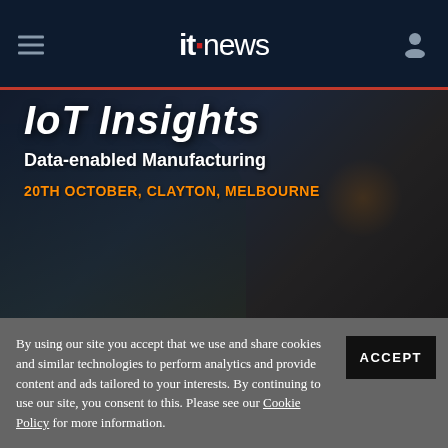itnews
[Figure (photo): IoT Insights: Data-enabled Manufacturing event banner showing a worker in a yellow vest with text '20TH OCTOBER, CLAYTON, MELBOURNE']
By using our site you accept that we use and share cookies and similar technologies to perform analytics and provide content and ads tailored to your interests. By continuing to use our site, you consent to this. Please see our Cookie Policy for more information.